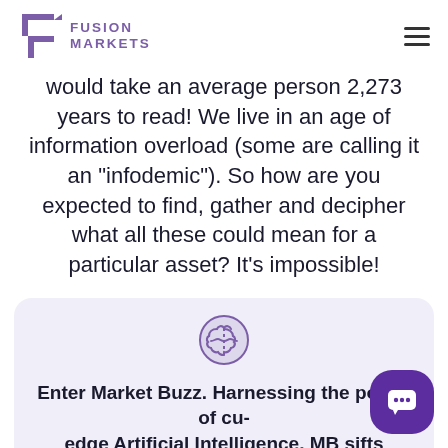Fusion Markets
would take an average person 2,273 years to read! We live in an age of information overload (some are calling it an "infodemic"). So how are you expected to find, gather and decipher what all these could mean for a particular asset? It’s impossible!
[Figure (illustration): Purple brain icon representing AI/artificial intelligence]
Enter Market Buzz. Harnessing the power of cutting-edge Artificial Intelligence, MB sifts through